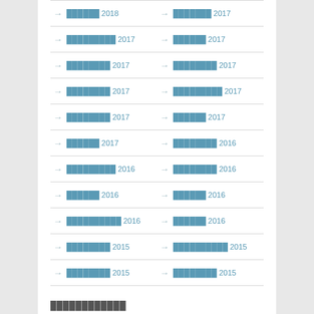→ ██████ 2018  → ███████ 2017
→ █████████ 2017  → ██████ 2017
→ ████████ 2017  → ████████ 2017
→ ████████ 2017  → █████████ 2017
→ ████████ 2017  → ██████ 2017
→ ██████ 2017  → ████████ 2016
→ █████████ 2016  → ████████ 2016
→ ██████ 2016  → ██████ 2016
→ ██████████ 2016  → ██████ 2016
→ ████████ 2015  → ██████████ 2015
→ ████████ 2015  → ████████ 2015
████████████
→ ████████████████████████████████████████████████ (███████ ███ █████████████ ████████ X Rate) 02/09/2022